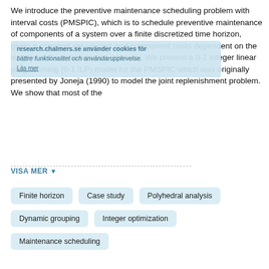We introduce the preventive maintenance scheduling problem with interval costs (PMSPIC), which is to schedule preventive maintenance of components of a system over a finite discretized time horizon, given a common set-up cost and component costs dependent on the lengths of the maintenance intervals. We present a 0-1 integer linear programming (0-1 ILP) model for the PMSPIC which was originally presented by Joneja (1990) to model the joint replenishment problem. We show that most of the
VISA MER
Finite horizon
Case study
Polyhedral analysis
Dynamic grouping
Integer optimization
Maintenance scheduling